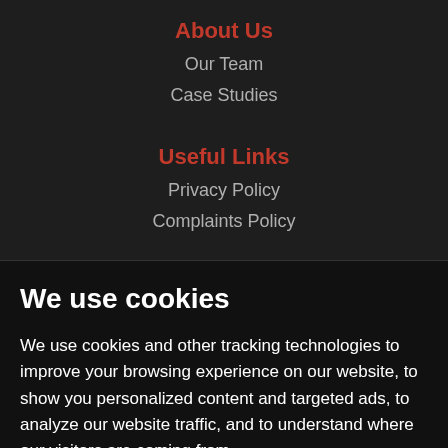About Us
Our Team
Case Studies
Useful Links
Privacy Policy
Complaints Policy
We use cookies
We use cookies and other tracking technologies to improve your browsing experience on our website, to show you personalized content and targeted ads, to analyze our website traffic, and to understand where our visitors are coming from